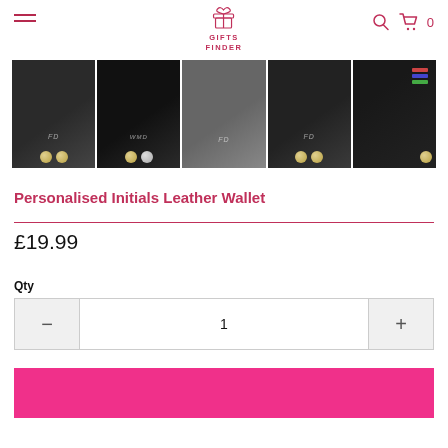GIFTS FINDER
[Figure (photo): Five thumbnail images of personalised leather wallets with initials (FD, WMD, FD, FD) in black and grey colors, with coins scattered around them.]
Personalised Initials Leather Wallet
£19.99
Qty
1